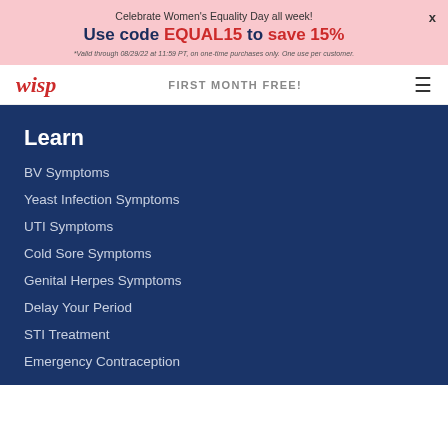Celebrate Women's Equality Day all week! Use code EQUAL15 to save 15% *Valid through 08/29/22 at 11:59 PT, on one-time purchases only. One use per customer.
wisp | FIRST MONTH FREE!
Learn
BV Symptoms
Yeast Infection Symptoms
UTI Symptoms
Cold Sore Symptoms
Genital Herpes Symptoms
Delay Your Period
STI Treatment
Emergency Contraception